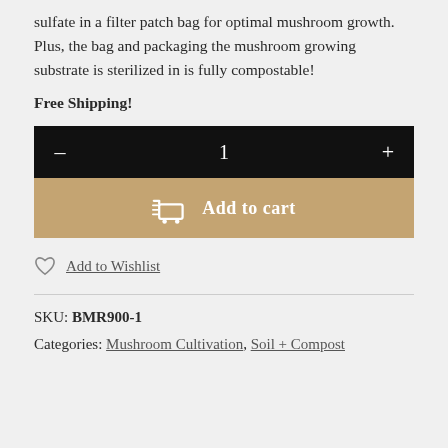sulfate in a filter patch bag for optimal mushroom growth. Plus, the bag and packaging the mushroom growing substrate is sterilized in is fully compostable!
Free Shipping!
[Figure (other): Quantity selector with minus button, number 1 in center, plus button on dark background, with Add to cart button below in tan/gold color with cart icon]
Add to Wishlist
SKU: BMR900-1
Categories: Mushroom Cultivation, Soil + Compost